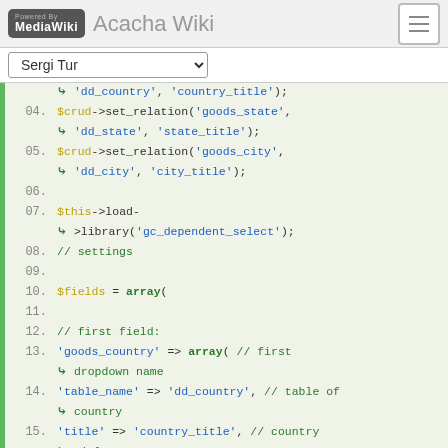Powered By MediaWiki  Acacha Wiki
Sergi Tur [dropdown]
[Figure (screenshot): PHP code snippet showing lines 04-19 of a CodeIgniter CRUD configuration with set_relation calls and $fields array definition for dependent dropdowns (goods_country, goods_state, goods_city).]